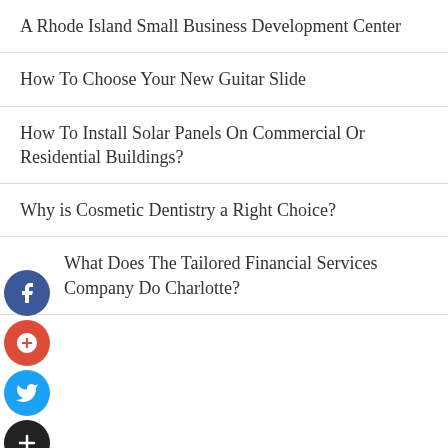A Rhode Island Small Business Development Center
How To Choose Your New Guitar Slide
How To Install Solar Panels On Commercial Or Residential Buildings?
Why is Cosmetic Dentistry a Right Choice?
What Does The Tailored Financial Services Company Do Charlotte?
TAGS
authority backlinks
backlinks
bath salt
bath salt from Amazon
black truffle salt